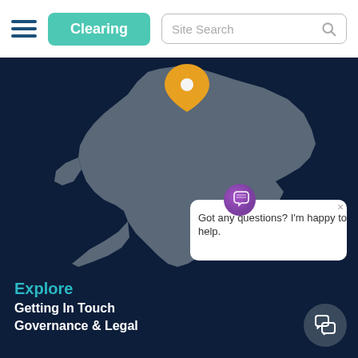Clearing | Site Search
[Figure (map): Stylized map of England in grey on dark navy background, with an orange location pin marker in the north, and a chat assistant popup overlay at bottom right.]
Got any questions? I'm happy to help.
Explore
Getting In Touch
Governance & Legal